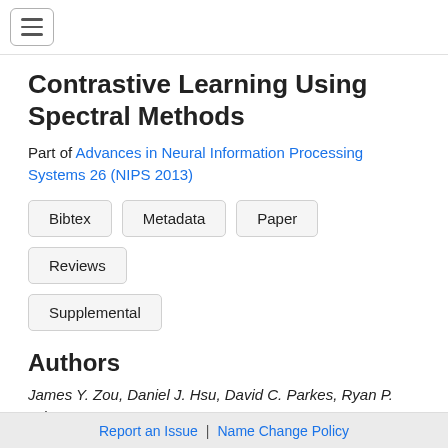Contrastive Learning Using Spectral Methods
Part of Advances in Neural Information Processing Systems 26 (NIPS 2013)
Bibtex
Metadata
Paper
Reviews
Supplemental
Authors
James Y. Zou, Daniel J. Hsu, David C. Parkes, Ryan P. Adams
Report an Issue | Name Change Policy